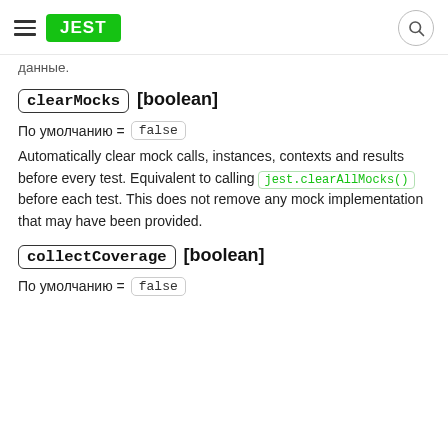JEST (logo) [navigation header]
данные.
clearMocks [boolean]
По умолчанию = false
Automatically clear mock calls, instances, contexts and results before every test. Equivalent to calling jest.clearAllMocks() before each test. This does not remove any mock implementation that may have been provided.
collectCoverage [boolean]
По умолчанию = false